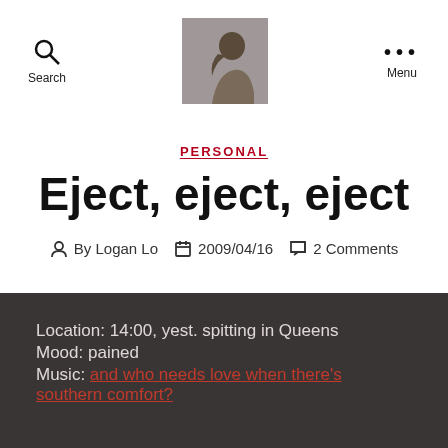Search | [avatar image] | Menu
PERSONAL
Eject, eject, eject
By Logan Lo  2009/04/16  2 Comments
Location: 14:00, yest. spitting in Queens
Mood: pained
Music: and who needs love when there's southern comfort?